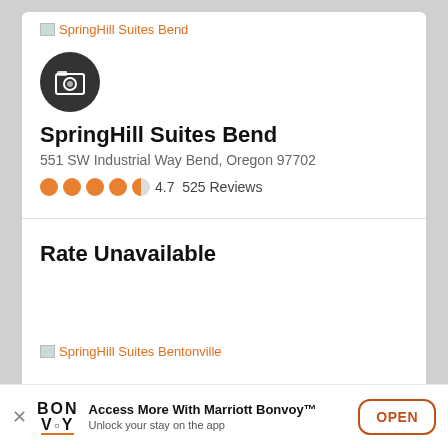[Figure (screenshot): Broken image icon followed by link text 'SpringHill Suites Bend' in orange]
[Figure (photo): Dark circular icon with a photo/camera stack icon in white]
SpringHill Suites Bend
551 SW Industrial Way Bend, Oregon 97702
4.7  525 Reviews
Rate Unavailable
[Figure (screenshot): Broken image icon followed by link text 'SpringHill Suites Bentonville' in orange]
Access More With Marriott Bonvoy™
Unlock your stay on the app
OPEN